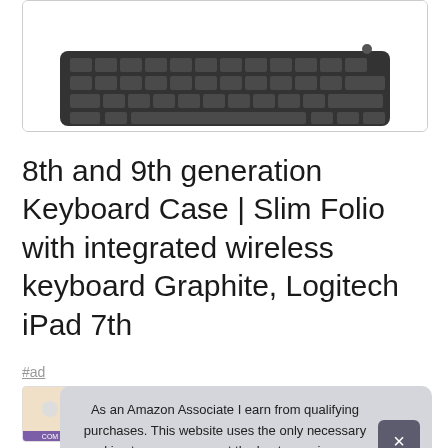[Figure (photo): Partial view of a Logitech keyboard case for iPad, showing the top portion of the device with keyboard keys visible against a white background, inside a rounded rectangle border.]
8th and 9th generation Keyboard Case | Slim Folio with integrated wireless keyboard Graphite, Logitech iPad 7th
#ad
[Figure (photo): Small product thumbnail image showing a brown/tan colored item with a purple label marked 'COM' at the bottom.]
As an Amazon Associate I earn from qualifying purchases. This website uses the only necessary cookies to ensure you get the best experience on our website. More information